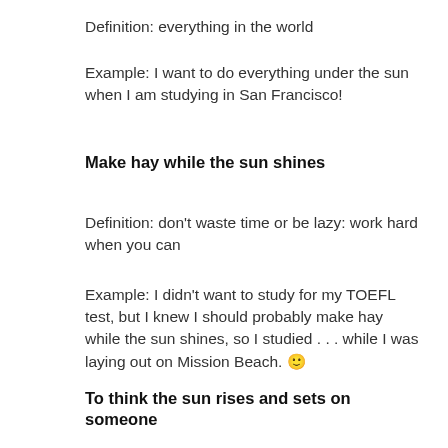Definition: everything in the world
Example: I want to do everything under the sun when I am studying in San Francisco!
Make hay while the sun shines
Definition: don't waste time or be lazy: work hard when you can
Example: I didn't want to study for my TOEFL test, but I knew I should probably make hay while the sun shines, so I studied . . . while I was laying out on Mission Beach. 🙂
To think the sun rises and sets on someone
Definition: to be completely...